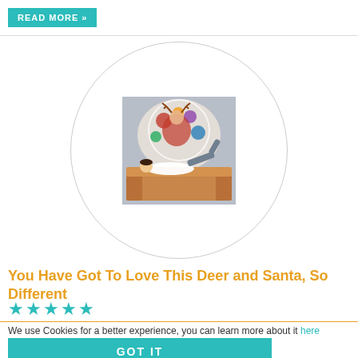READ MORE »
[Figure (photo): Product photo of a wall art sticker showing a deer and Santa scene, displayed in a room with a person lying on a couch, shown inside a circular frame outline.]
You Have Got To Love This Deer and Santa, So Different
★★★★★
We use Cookies for a better experience, you can learn more about it here
GOT IT